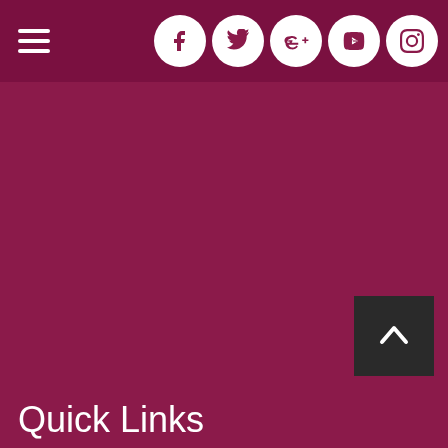[Figure (screenshot): Website navigation bar with hamburger menu icon on the left and five social media icons (Facebook, Twitter, Google+, YouTube, Instagram) on the right, on a dark maroon background]
[Figure (other): Back to top button - dark gray square with white upward chevron arrow, positioned in lower right area]
Quick Links